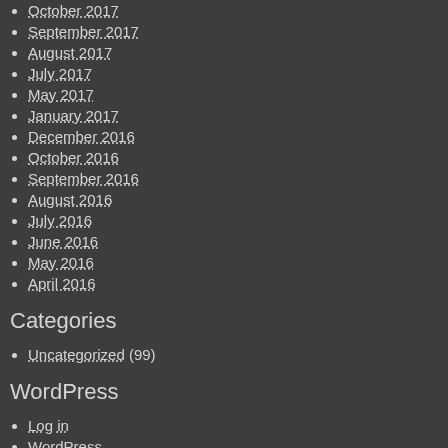October 2017
September 2017
August 2017
July 2017
May 2017
January 2017
December 2016
October 2016
September 2016
August 2016
July 2016
June 2016
May 2016
April 2016
Categories
Uncategorized (99)
WordPress
Log in
WordPress